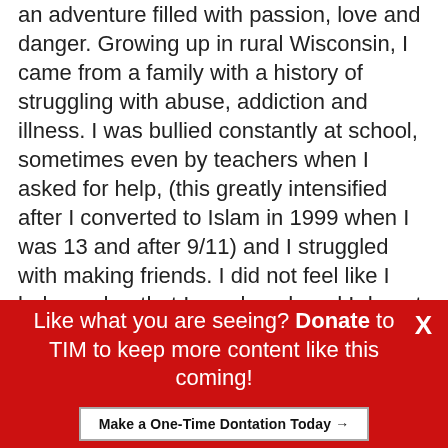an adventure filled with passion, love and danger. Growing up in rural Wisconsin, I came from a family with a history of struggling with abuse, addiction and illness. I was bullied constantly at school, sometimes even by teachers when I asked for help, (this greatly intensified after I converted to Islam in 1999 when I was 13 and after 9/11) and I struggled with making friends. I did not feel like I belonged or that I was loved, and I do not think that those who believe they loved me had a healthy understanding of love.
Many victims of domestic violence say their abuser first appeared to them like a knight or
Like what you are seeing? Donate to TIM to keep more content like this coming!
Make a One-Time Dontation Today →